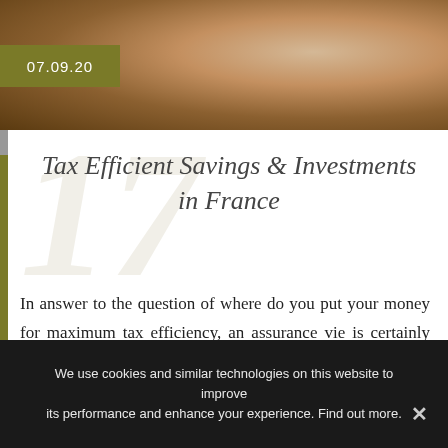[Figure (photo): Outdoor photo of people standing near a tree, warm sunlit tones]
07.09.20
Tax Efficient Savings & Investments in France
In answer to the question of where do you put your money for maximum tax efficiency, an assurance vie is certainly the best place to put it. The French have continued to favour this investment over the years. According to the French Insurance Federation (FFA) in
We use cookies and similar technologies on this website to improve its performance and enhance your experience. Find out more.